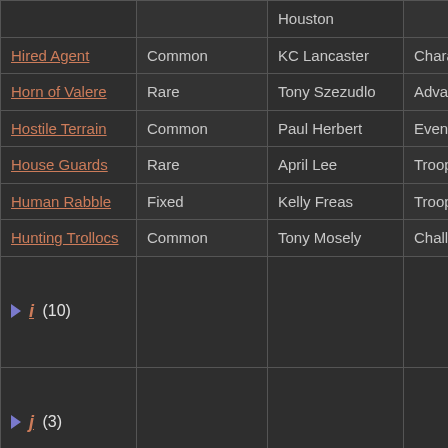| Name | Rarity | Artist | Type |  |
| --- | --- | --- | --- | --- |
|  |  | Houston |  |  |
| Hired Agent | Common | KC Lancaster | Character | Me... |
| Horn of Valere | Rare | Tony Szezudlo | Advantage | Wo... |
| Hostile Terrain | Common | Paul Herbert | Event |  |
| House Guards | Rare | April Lee | Troop | Ca... |
| Human Rabble | Fixed | Kelly Freas | Troop | Me... |
| Hunting Trollocs | Common | Tony Mosely | Challenge |  |
| ▶ i (10) |  |  |  |  |
| ▶ j (3) |  |  |  |  |
| ▶ k (1) |  |  |  |  |
| ▶ l (37) |  |  |  |  |